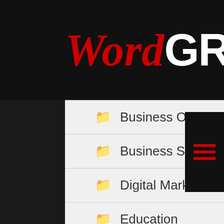[Figure (logo): WordGrill logo with 'Word' in red italic serif and 'GRILL' in white bold uppercase sans-serif on black background]
Business Opportunities
Business Studies
Digital Marketing
Education
Entertainment
Facebook
Family
Fashion